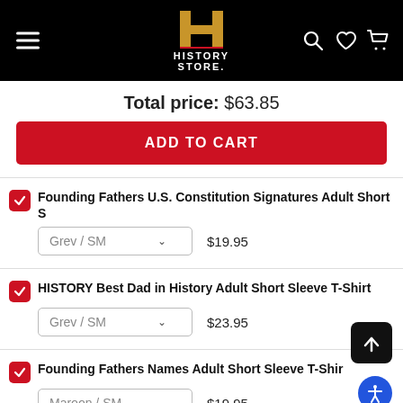[Figure (logo): History Store logo with golden H and white HISTORY STORE text on black background header with hamburger menu and search/heart/cart icons]
Total price: $63.85
ADD TO CART
Founding Fathers U.S. Constitution Signatures Adult Short S
Grev / SM  $19.95
HISTORY Best Dad in History Adult Short Sleeve T-Shirt
Grev / SM  $23.95
Founding Fathers Names Adult Short Sleeve T-Shir
Maroon / SM  $19.95